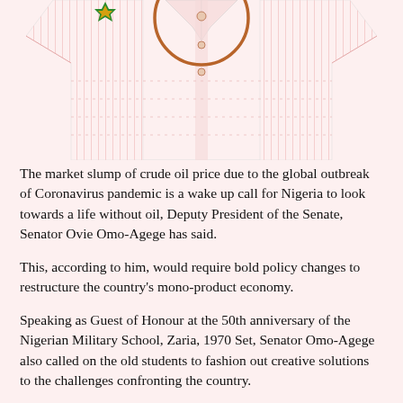[Figure (illustration): A striped dress shirt with a brown/orange circle drawn around its top button area, and what appears to be a small colored emblem (green and yellow/gold) near the top left collar area.]
The market slump of crude oil price due to the global outbreak of Coronavirus pandemic is a wake up call for Nigeria to look towards a life without oil, Deputy President of the Senate, Senator Ovie Omo-Agege has said.
This, according to him, would require bold policy changes to restructure the country's mono-product economy.
Speaking as Guest of Honour at the 50th anniversary of the Nigerian Military School, Zaria, 1970 Set, Senator Omo-Agege also called on the old students to fashion out creative solutions to the challenges confronting the country.
He said: "The recent global outbreak of the COVID-19... obviously